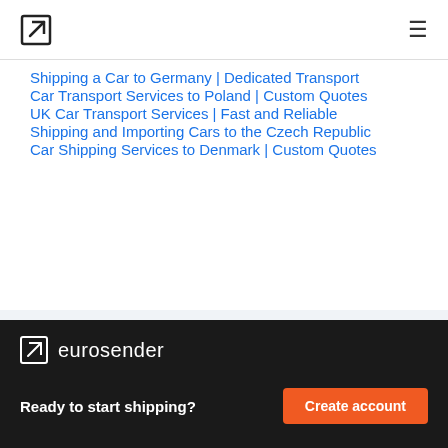Eurosender navigation bar with logo and hamburger menu
Shipping a Car to Germany | Dedicated Transport
Car Transport Services to Poland | Custom Quotes
UK Car Transport Services | Fast and Reliable
Shipping and Importing Cars to the Czech Republic
Car Shipping Services to Denmark | Custom Quotes
eurosender — Ready to start shipping? Create account